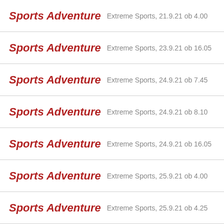Sports Adventure  Extreme Sports, 21.9.21 ob 4.00
Sports Adventure  Extreme Sports, 23.9.21 ob 16.05
Sports Adventure  Extreme Sports, 24.9.21 ob 7.45
Sports Adventure  Extreme Sports, 24.9.21 ob 8.10
Sports Adventure  Extreme Sports, 24.9.21 ob 16.05
Sports Adventure  Extreme Sports, 25.9.21 ob 4.00
Sports Adventure  Extreme Sports, 25.9.21 ob 4.25